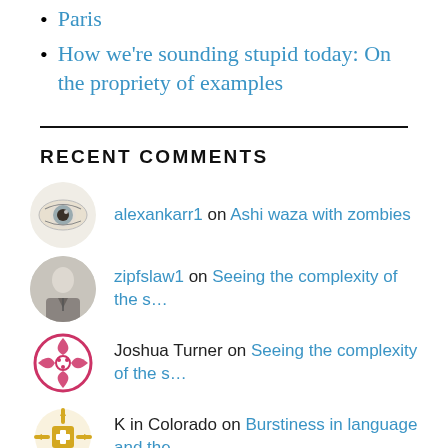Paris
How we're sounding stupid today: On the propriety of examples
RECENT COMMENTS
alexankarr1 on Ashi waza with zombies
zipfslaw1 on Seeing the complexity of the s…
Joshua Turner on Seeing the complexity of the s…
K in Colorado on Burstiness in language and the…